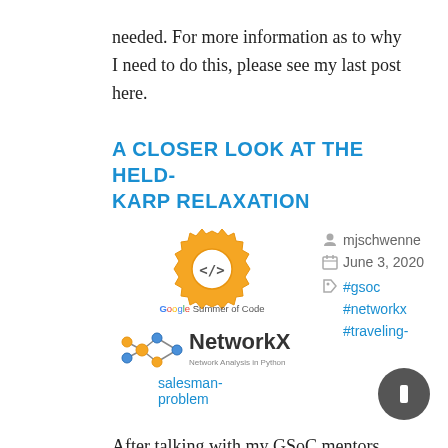needed. For more information as to why I need to do this, please see my last post here.
A CLOSER LOOK AT THE HELD-KARP RELAXATION
[Figure (logo): Google Summer of Code logo (golden gear icon with </> symbol) above NetworkX logo (Network Analysis in Python)]
mjschwenne
June 3, 2020
#gsoc #networkx #traveling-salesman-problem
After talking with my GSoC mentors about what we all believe to be the most